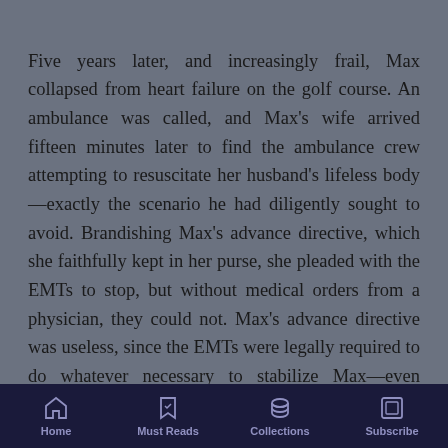Five years later, and increasingly frail, Max collapsed from heart failure on the golf course. An ambulance was called, and Max's wife arrived fifteen minutes later to find the ambulance crew attempting to resuscitate her husband's lifeless body—exactly the scenario he had diligently sought to avoid. Brandishing Max's advance directive, which she faithfully kept in her purse, she pleaded with the EMTs to stop, but without medical orders from a physician, they could not. Max's advance directive was useless, since the EMTs were legally required to do whatever necessary to stabilize Max—even things he would abhor—in the absence of an order from a physician. Advance directives, it turns out, work better in the hospital than on a golf course.
Home | Must Reads | Collections | Subscribe